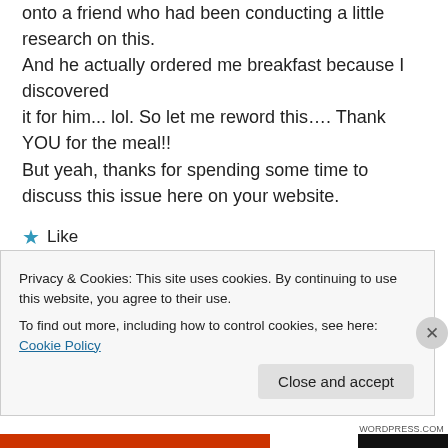onto a friend who had been conducting a little research on this.
And he actually ordered me breakfast because I discovered
it for him... lol. So let me reword this…. Thank YOU for the meal!!
But yeah, thanks for spending some time to discuss this issue here on your website.
★ Like
[Figure (other): Dark horizontal navigation bar]
Privacy & Cookies: This site uses cookies. By continuing to use this website, you agree to their use.
To find out more, including how to control cookies, see here: Cookie Policy
Close and accept